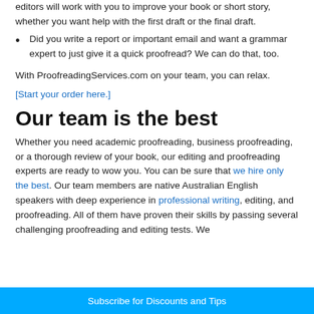editors will work with you to improve your book or short story, whether you want help with the first draft or the final draft.
Did you write a report or important email and want a grammar expert to just give it a quick proofread? We can do that, too.
With ProofreadingServices.com on your team, you can relax.
[Start your order here.]
Our team is the best
Whether you need academic proofreading, business proofreading, or a thorough review of your book, our editing and proofreading experts are ready to wow you. You can be sure that we hire only the best. Our team members are native Australian English speakers with deep experience in professional writing, editing, and proofreading. All of them have proven their skills by passing several challenging proofreading and editing tests. We
Subscribe for Discounts and Tips